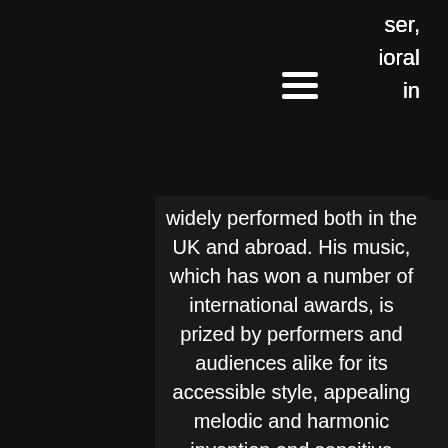ser, ıoral ın
widely performed both in the UK and abroad. His music, which has won a number of international awards, is prized by performers and audiences alike for its accessible style, appealing melodic and harmonic invention and sensitive word-setting.
His music has been described as "haunting", "exquisite", "moving" and "beautiful" and has won praise from such luminaries of the choral world as John Rutter, Judith Weir, Bob Chilcott, Stephen Jackson, Alan Bullard, Brian Kay, and